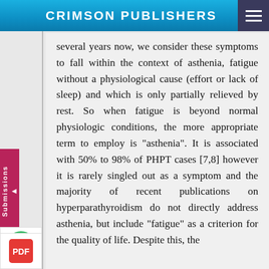CRIMSON PUBLISHERS
several years now, we consider these symptoms to fall within the context of asthenia, fatigue without a physiological cause (effort or lack of sleep) and which is only partially relieved by rest. So when fatigue is beyond normal physiologic conditions, the more appropriate term to employ is "asthenia". It is associated with 50% to 98% of PHPT cases [7,8] however it is rarely singled out as a symptom and the majority of recent publications on hyperparathyroidism do not directly address asthenia, but include "fatigue" as a criterion for the quality of life. Despite this, the